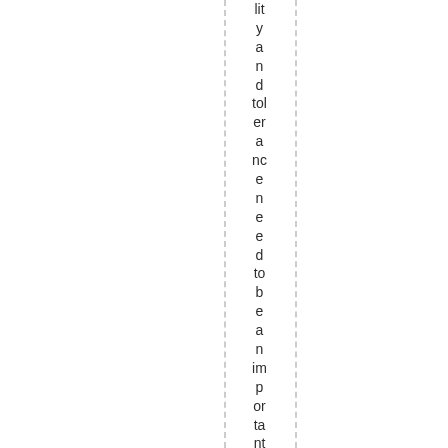lity and tolerance needed to be an important part of our